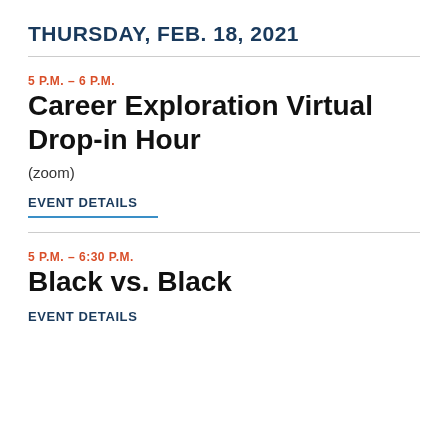THURSDAY, FEB. 18, 2021
5 P.M. – 6 P.M.
Career Exploration Virtual Drop-in Hour
(zoom)
EVENT DETAILS
5 P.M. – 6:30 P.M.
Black vs. Black
EVENT DETAILS